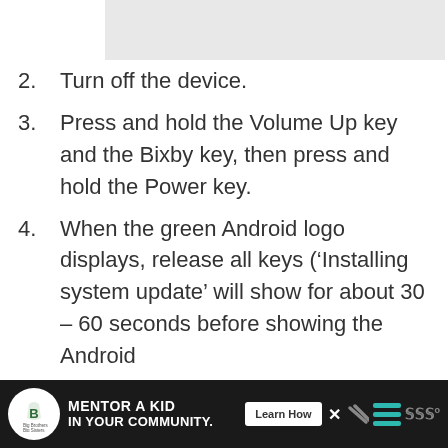[Figure (other): Gray placeholder image area at top of page]
2. Turn off the device.
3. Press and hold the Volume Up key and the Bixby key, then press and hold the Power key.
4. When the green Android logo displays, release all keys (‘Installing system update’ will show for about 30 – 60 seconds before showing the Android
[Figure (other): Advertisement bar: Big Brothers Big Sisters - Mentor a Kid in Your Community. Learn How button.]